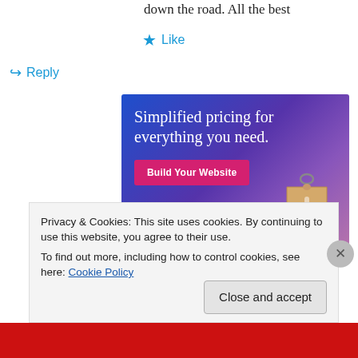down the road. All the best
★ Like
↪ Reply
[Figure (infographic): Advertisement banner with gradient blue-purple background, text 'Simplified pricing for everything you need.' in white serif font, a pink 'Build Your Website' button, and a decorative price tag image on the right.]
Privacy & Cookies: This site uses cookies. By continuing to use this website, you agree to their use.
To find out more, including how to control cookies, see here: Cookie Policy
Close and accept